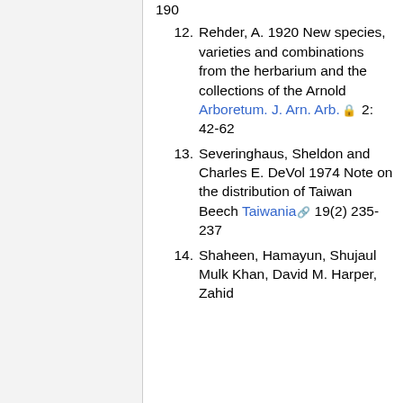190
12. Rehder, A. 1920 New species, varieties and combinations from the herbarium and the collections of the Arnold Arboretum. J. Arn. Arb. 2: 42-62
13. Severinghaus, Sheldon and Charles E. DeVol 1974 Note on the distribution of Taiwan Beech Taiwania 19(2) 235-237
14. Shaheen, Hamayun, Shujaul Mulk Khan, David M. Harper, Zahid